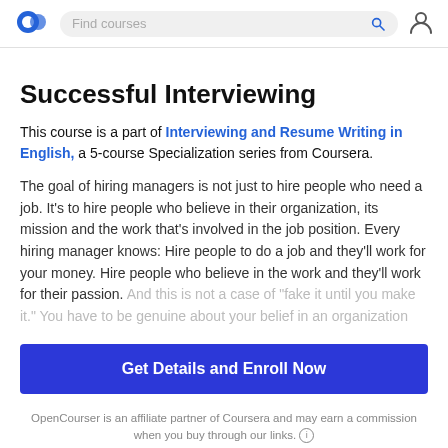Find courses
Successful Interviewing
This course is a part of Interviewing and Resume Writing in English, a 5-course Specialization series from Coursera.
The goal of hiring managers is not just to hire people who need a job. It's to hire people who believe in their organization, its mission and the work that's involved in the job position. Every hiring manager knows: Hire people to do a job and they'll work for your money. Hire people who believe in the work and they'll work for their passion. And this is not a case of "fake it until you make it." You have to be genuine about your belief in an organization
Get Details and Enroll Now
OpenCourser is an affiliate partner of Coursera and may earn a commission when you buy through our links.